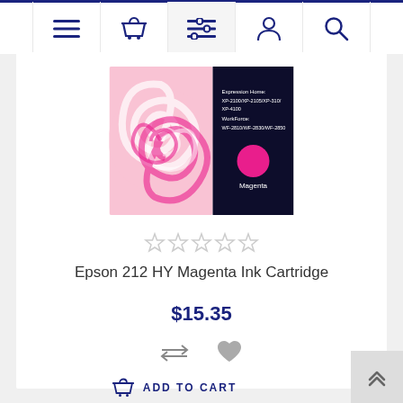[Figure (screenshot): E-commerce website navigation bar with icons: hamburger menu, shopping basket, filter/list, user profile, and search magnifying glass]
[Figure (photo): Epson 212 HY Magenta Ink Cartridge product image showing a pink lollipop swirl on the left and the cartridge packaging with Magenta label on the right]
[Figure (other): Five empty star rating icons]
Epson 212 HY Magenta Ink Cartridge
$15.35
[Figure (other): Compare arrows icon and heart/wishlist icon]
ADD TO CART